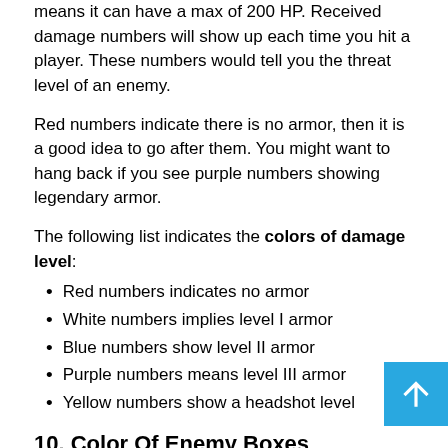means it can have a max of 200 HP. Received damage numbers will show up each time you hit a player. These numbers would tell you the threat level of an enemy.
Red numbers indicate there is no armor, then it is a good idea to go after them. You might want to hang back if you see purple numbers showing legendary armor.
The following list indicates the colors of damage level:
Red numbers indicates no armor
White numbers implies level I armor
Blue numbers show level II armor
Purple numbers means level III armor
Yellow numbers show a headshot level
10. Color Of Enemy Boxes
As you will be playing the game, you will notice different...